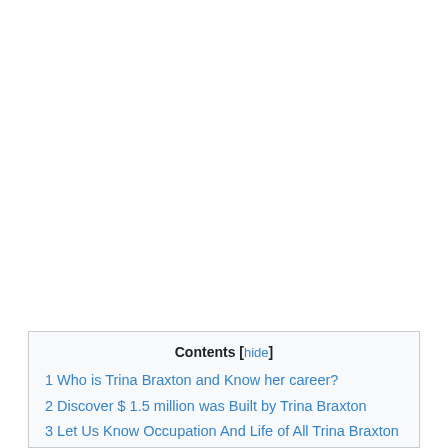Contents [hide]
1 Who is Trina Braxton and Know her career?
2 Discover $ 1.5 million was Built by Trina Braxton
3 Let Us Know Occupation And Life of All Trina Braxton